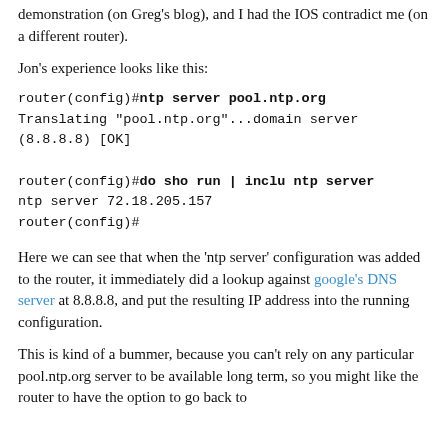demonstration (on Greg's blog), and I had the IOS contradict me (on a different router).
Jon's experience looks like this:
router(config)#ntp server pool.ntp.org
Translating "pool.ntp.org"...domain server
(8.8.8.8) [OK]
router(config)#do sho run | inclu ntp server
ntp server 72.18.205.157
router(config)#
Here we can see that when the 'ntp server' configuration was added to the router, it immediately did a lookup against google's DNS server at 8.8.8.8, and put the resulting IP address into the running configuration.
This is kind of a bummer, because you can't rely on any particular pool.ntp.org server to be available long term, so you might like the router to have the option to go back to